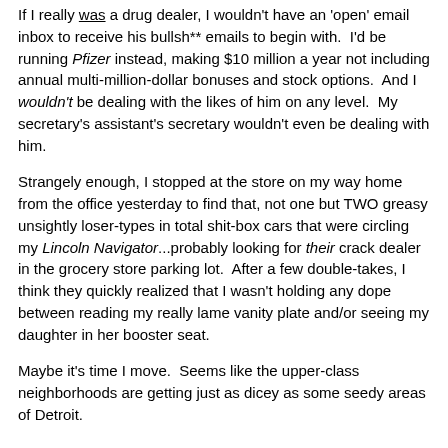If I really was a drug dealer, I wouldn't have an 'open' email inbox to receive his bullsh** emails to begin with. I'd be running Pfizer instead, making $10 million a year not including annual multi-million-dollar bonuses and stock options. And I wouldn't be dealing with the likes of him on any level. My secretary's assistant's secretary wouldn't even be dealing with him.
Strangely enough, I stopped at the store on my way home from the office yesterday to find that, not one but TWO greasy unsightly loser-types in total shit-box cars that were circling my Lincoln Navigator...probably looking for their crack dealer in the grocery store parking lot. After a few double-takes, I think they quickly realized that I wasn't holding any dope between reading my really lame vanity plate and/or seeing my daughter in her booster seat.
Maybe it's time I move. Seems like the upper-class neighborhoods are getting just as dicey as some seedy areas of Detroit.